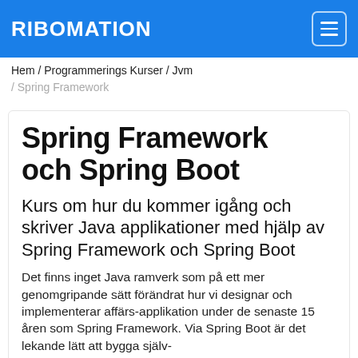RIBOMATION
Hem / Programmerings Kurser / Jvm / Spring Framework
Spring Framework och Spring Boot
Kurs om hur du kommer igång och skriver Java applikationer med hjälp av Spring Framework och Spring Boot
Det finns inget Java ramverk som på ett mer genomgripande sätt förändrat hur vi designar och implementerar affärs-applikation under de senaste 15 åren som Spring Framework. Via Spring Boot är det lekande lätt att bygga själv-